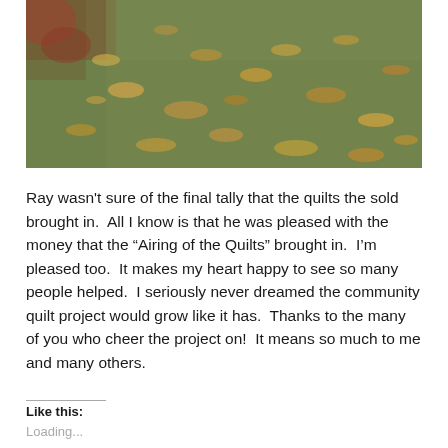[Figure (photo): Outdoor photograph of a grassy lawn with fallen autumn leaves scattered across it. Upper left corner shows reddish-brown ground cover or mulch. The grass is green with many dry brown/yellow leaves covering portions of it.]
Ray wasn't sure of the final tally that the quilts the sold brought in.  All I know is that he was pleased with the money that the “Airing of the Quilts” brought in.  I'm pleased too.  It makes my heart happy to see so many people helped.  I seriously never dreamed the community quilt project would grow like it has.  Thanks to the many of you who cheer the project on!  It means so much to me and many others.
Like this:
Loading...